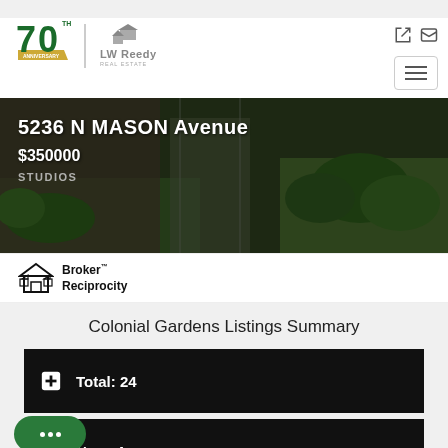[Figure (logo): LW Reedy Real Estate 70th Anniversary logo with green 70 and banner]
[Figure (photo): Property photo of 5236 N MASON Avenue showing house entrance with green shrubbery]
5236 N MASON Avenue
$350000
STUDIOS
[Figure (logo): Broker Reciprocity logo with house icon]
Broker™ Reciprocity
Colonial Gardens Listings Summary
Total: 24
New: 4